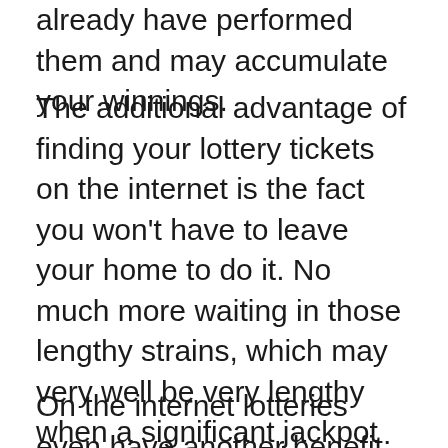already have performed them and may accumulate your winnings.
The additional advantage of finding your lottery tickets on the internet is the fact you won't have to leave your home to do it. No much more waiting in those lengthy strains, which may very well be very lengthy when a significant jackpot was introduced. No extra stressing about Other folks making an attempt to check totojitu their figures to yours. You've the luxurious of sitting down comfortably and leisurely in the chair and choosing your figures at your individual pace.
On the internet lotteries even have another benefit; it's not necessary to just Participate in your neighborhood lotteries.